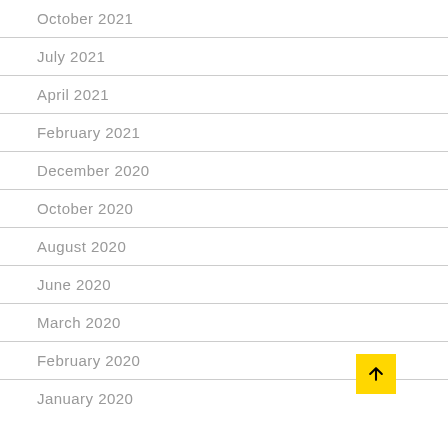October 2021
July 2021
April 2021
February 2021
December 2020
October 2020
August 2020
June 2020
March 2020
February 2020
January 2020